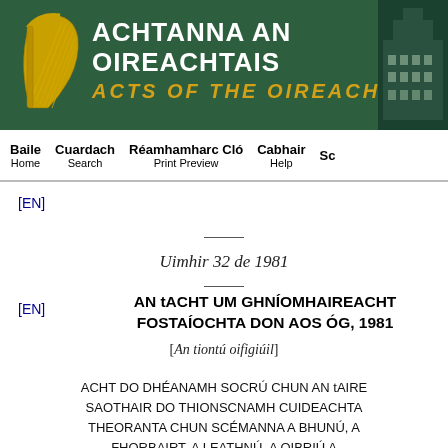[Figure (logo): Achtanna an Oireachtais / Acts of the Oireachtas header banner with Irish harp logo and building image on dark green background]
Baile Home | Cuardach Search | Réamhamharc Cló Print Preview | Cabhair Help | Sc
[EN]
Uimhir 32 de 1981
[EN]
AN tACHT UM GHNÍOMHAIREACHT FOSTAÍOCHTA DON AOS ÓG, 1981
[An tiontú oifigiúil]
ACHT DO DHÉANAMH SOCRÚ CHUN AN tAIRE SAOTHAIR DO THIONSCNAMH CUIDEACHTA THEORANTA CHUN SCÉMANNA A BHUNÚ, A FHORBAIRT, A LEATHNÚ, A OIBRIÚ A…